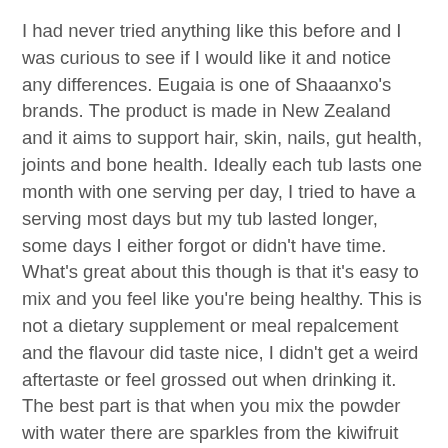I had never tried anything like this before and I was curious to see if I would like it and notice any differences. Eugaia is one of Shaaanxo's brands. The product is made in New Zealand and it aims to support hair, skin, nails, gut health, joints and bone health. Ideally each tub lasts one month with one serving per day, I tried to have a serving most days but my tub lasted longer, some days I either forgot or didn't have time. What's great about this though is that it's easy to mix and you feel like you're being healthy. This is not a dietary supplement or meal repalcement and the flavour did taste nice, I didn't get a weird aftertaste or feel grossed out when drinking it. The best part is that when you mix the powder with water there are sparkles from the kiwifruit powder. Overall I noticed a couple of differences: stronger nails and brighter, clearer skin (could be a combination of this and not wearing makeup). After finishing this flavour I purchased one of the Strawberry & Lime tubs but didn't like it as much, it tastes sweeter and more artificial.